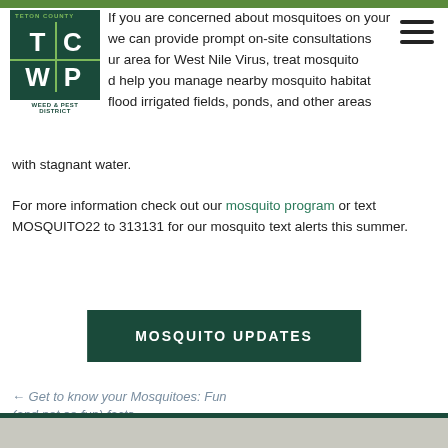[Figure (logo): Teton County Weed & Pest District logo — dark green square with TC/WP letters and green cross divider]
If you are concerned about mosquitoes on your we can provide prompt on-site consultations ur area for West Nile Virus, treat mosquito d help you manage nearby mosquito habitat flood irrigated fields, ponds, and other areas with stagnant water.
For more information check out our mosquito program or text MOSQUITO22 to 313131 for our mosquito text alerts this summer.
MOSQUITO UPDATES
← Get to know your Mosquitoes: Fun (and not so fun) facts
Recreate Responsibly this Summer →